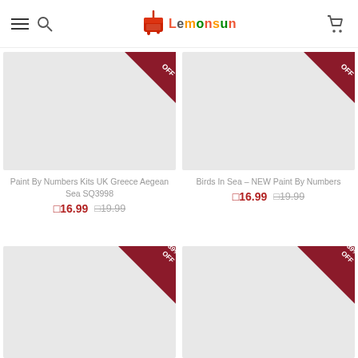[Figure (logo): Lemonsun paint by numbers logo with colorful text and paint can icon]
[Figure (photo): Product image placeholder for Paint By Numbers Kits UK Greece Aegean Sea SQ3998 with OFF badge]
Paint By Numbers Kits UK Greece Aegean Sea SQ3998
□16.99  □19.99
[Figure (photo): Product image placeholder for Birds In Sea - NEW Paint By Numbers with OFF badge]
Birds In Sea - NEW Paint By Numbers
□16.99  □19.99
[Figure (photo): Product image placeholder with 39% OFF badge (bottom left, cropped)]
[Figure (photo): Product image placeholder with 39% OFF badge (bottom right, cropped)]